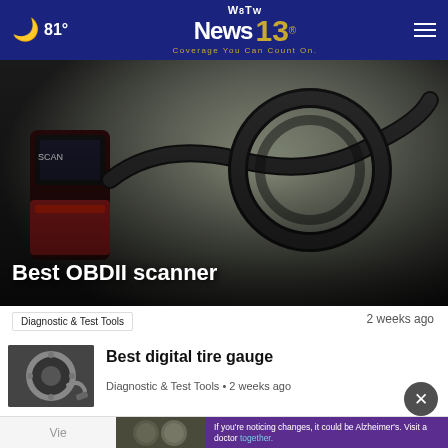🌙 81° | WBTW News 13 — Coverage You Can Count On.
[Figure (photo): OBDII scanner device with cable coiled on a dark surface, automotive diagnostic tool]
Best OBDII scanner
Diagnostic & Test Tools · 2 weeks ago
[Figure (photo): Thumbnail of a person using a tire gauge on a car wheel]
Best digital tire gauge
Diagnostic & Test Tools • 2 weeks ago
If you're noticing changes, it could be Alzheimer's. Visit a doctor together.